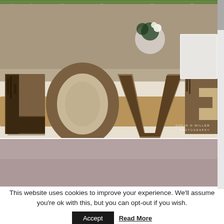[Figure (photo): Narrow strip of flowers/greenery at very top of page]
[Figure (photo): Main photo showing rustic wooden LOVE letters on a burlap table runner with floral decorations in the background. Watermark reads 'COLIN D MILLER PHOTOGRAPHY' in bottom right corner.]
[Figure (photo): Partially visible photo at bottom, showing a muted pink/mauve blurred background]
This website uses cookies to improve your experience. We'll assume you're ok with this, but you can opt-out if you wish.
Accept
Read More